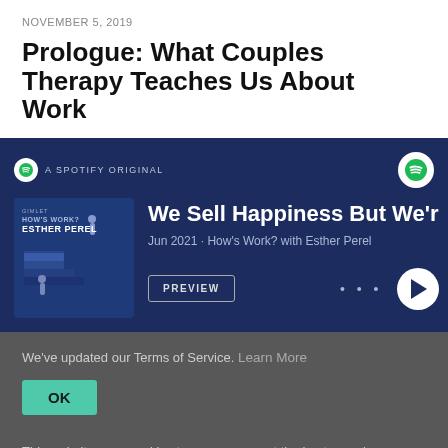NOVEMBER 5, 2019
Prologue: What Couples Therapy Teaches Us About Work
[Figure (screenshot): Spotify embedded player for 'We Sell Happiness But We'r' episode. Shows album art for How's Work? with Esther Perel, Jun 2021, with PREVIEW button and play controls.]
We've updated our Terms of Service. Learn More
OK
This website uses cookies to ensure you get the best experience on our website. Learn More
OK